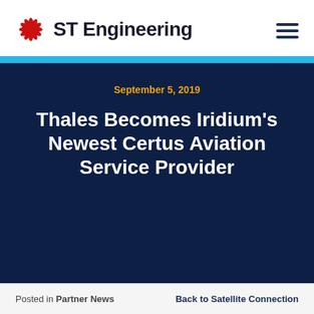ST Engineering
September 5, 2019
Thales Becomes Iridium's Newest Certus Aviation Service Provider
Posted in Partner News   Back to Satellite Connection